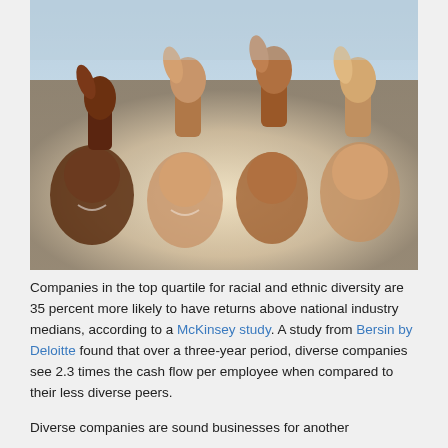[Figure (photo): Four people giving thumbs up toward camera; diverse group smiling; warm backlit background]
Companies in the top quartile for racial and ethnic diversity are 35 percent more likely to have returns above national industry medians, according to a McKinsey study. A study from Bersin by Deloitte found that over a three-year period, diverse companies see 2.3 times the cash flow per employee when compared to their less diverse peers.
Diverse companies are sound businesses for another